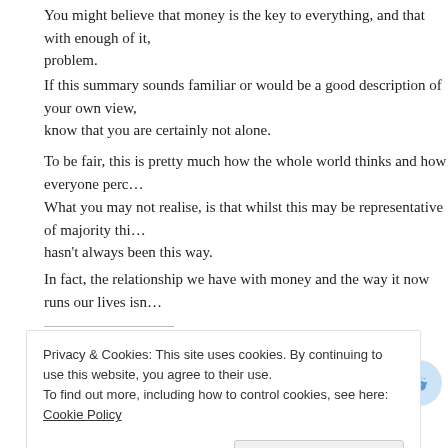You might believe that money is the key to everything, and that with enough of it, you can solve any problem.
If this summary sounds familiar or would be a good description of your own view, know that you are certainly not alone.
To be fair, this is pretty much how the whole world thinks and how everyone perc…
What you may not realise, is that whilst this may be representative of majority thi… hasn't always been this way.
In fact, the relationship we have with money and the way it now runs our lives isn…
Share this:
[Figure (infographic): Row of social media share buttons: Facebook (blue circle), Twitter (cyan circle), WhatsApp (green circle), LinkedIn (dark blue circle), Pinterest (red circle), Email (gray circle), Reddit (light blue circle), and one more partially visible.]
Like
Privacy & Cookies: This site uses cookies. By continuing to use this website, you agree to their use. To find out more, including how to control cookies, see here: Cookie Policy
Close and accept